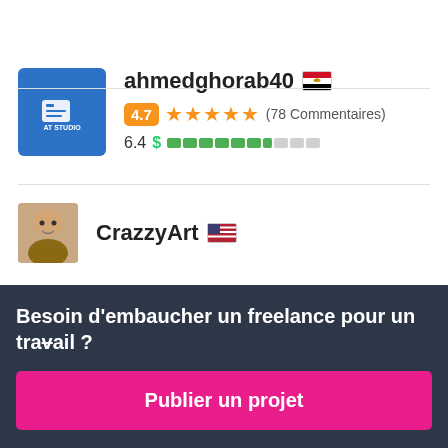[Figure (screenshot): Freelancer profile card for ahmedghorab40 with blue studio avatar, Egyptian flag, 4.7 star rating badge, 78 comments, and budget bar indicator showing 6.4]
ahmedghorab40 🇪🇬
4.7 ★★★★★ (78 Commentaires)
6.4 $ ████████░░░
CrazzyArt 🇺🇸
Besoin d'embaucher un freelance pour un travail ?
Publier un projet